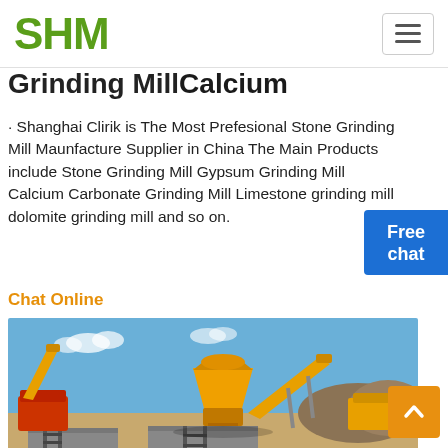SHM
Grinding Mill Calcium
· Shanghai Clirik is The Most Prefesional Stone Grinding Mill Maunfacture Supplier in China The Main Products include Stone Grinding Mill Gypsum Grinding Mill Calcium Carbonate Grinding Mill Limestone grinding mill dolomite grinding mill and so on.
Chat Online
[Figure (photo): Outdoor industrial stone crushing and grinding mill equipment at a construction/mining site. Yellow and orange machinery including a cone crusher, conveyor belts, and support structures on a sandy ground under a blue sky.]